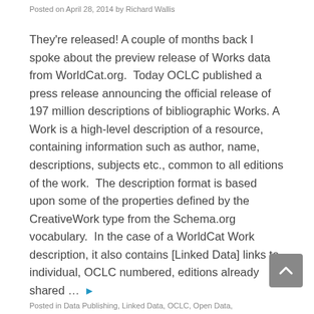Posted on April 28, 2014 by Richard Wallis
They're released! A couple of months back I spoke about the preview release of Works data from WorldCat.org.  Today OCLC published a press release announcing the official release of 197 million descriptions of bibliographic Works. A Work is a high-level description of a resource, containing information such as author, name, descriptions, subjects etc., common to all editions of the work.  The description format is based upon some of the properties defined by the CreativeWork type from the Schema.org vocabulary.  In the case of a WorldCat Work description, it also contains [Linked Data] links to individual, OCLC numbered, editions already shared … ▶
Posted in Data Publishing, Linked Data, OCLC, Open Data,